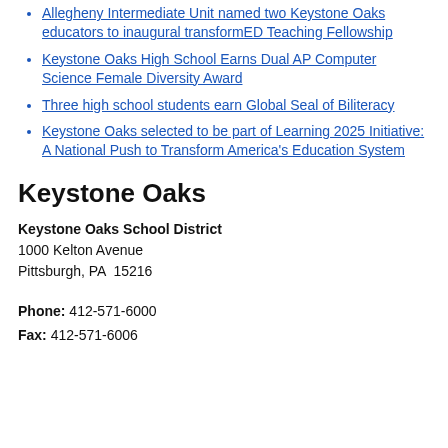Allegheny Intermediate Unit named two Keystone Oaks educators to inaugural transformED Teaching Fellowship
Keystone Oaks High School Earns Dual AP Computer Science Female Diversity Award
Three high school students earn Global Seal of Biliteracy
Keystone Oaks selected to be part of Learning 2025 Initiative: A National Push to Transform America's Education System
Keystone Oaks
Keystone Oaks School District
1000 Kelton Avenue
Pittsburgh, PA  15216
Phone: 412-571-6000
Fax: 412-571-6006